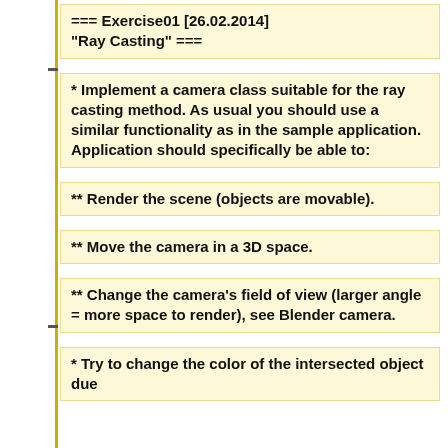=== Exercise01 [26.02.2014] "Ray Casting" ===
* Implement a camera class suitable for the ray casting method. As usual you should use a similar functionality as in the sample application. Application should specifically be able to:
** Render the scene (objects are movable).
** Move the camera in a 3D space.
** Change the camera's field of view (larger angle = more space to render), see Blender camera.
* Try to change the color of the intersected object due